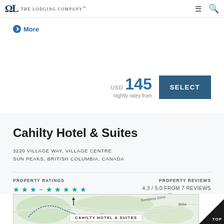The Lodging Company
More
USD 145 nightly rates from
Cahilty Hotel & Suites
3220 VILLAGE WAY, VILLAGE CENTRE
SUN PEAKS, BRITISH COLUMBIA, CANADA
PROPERTY RATINGS
★★★ – ★★★★★
PROPERTY REVIEWS
4.3 / 5.0 FROM 7 REVIEWS
SEND US ONE
[Figure (map): Map showing location of Cahilty Hotel & Suites at Sun Peaks, British Columbia with road markings including Sundance Drive and Bella]